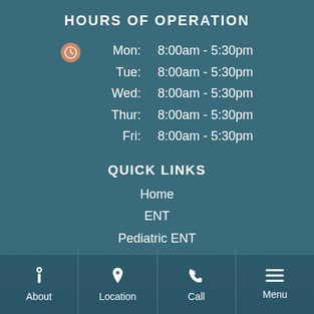HOURS OF OPERATION
Mon:   8:00am - 5:30pm
Tue:   8:00am - 5:30pm
Wed:   8:00am - 5:30pm
Thur:  8:00am - 5:30pm
Fri:   8:00am - 5:30pm
QUICK LINKS
Home
ENT
Pediatric ENT
Audiological Care
Allergy Care
About | Location | Call | Menu